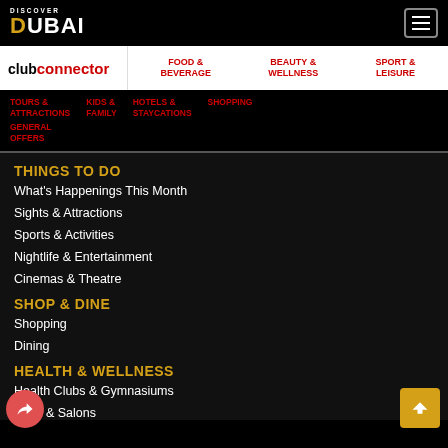DISCOVER DUBAI
FOOD & BEVERAGE | BEAUTY & WELLNESS | SPORT & LEISURE
TOURS & ATTRACTIONS | KIDS & FAMILY | HOTELS & STAYCATIONS | SHOPPING | GENERAL OFFERS
THINGS TO DO
What's Happenings This Month
Sights & Attractions
Sports & Activities
Nightlife & Entertainment
Cinemas & Theatre
SHOP & DINE
Shopping
Dining
HEALTH & WELLNESS
Health Clubs & Gymnasiums
Spas & Salons